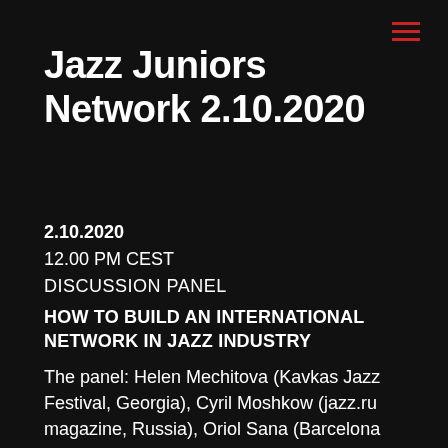Jazz Juniors Network 2.10.2020
2.10.2020
12.00 PM CEST
DISCUSSION PANEL
HOW TO BUILD AN INTERNATIONAL NETWORK IN JAZZ INDUSTRY
The panel: Helen Mechitova (Kavkas Jazz Festival, Georgia), Cyril Moshkow (jazz.ru magazine, Russia), Oriol Sana (Barcelona Fiddle Congress, Spain), Ratko Zjaca (More & Jazz Festival,